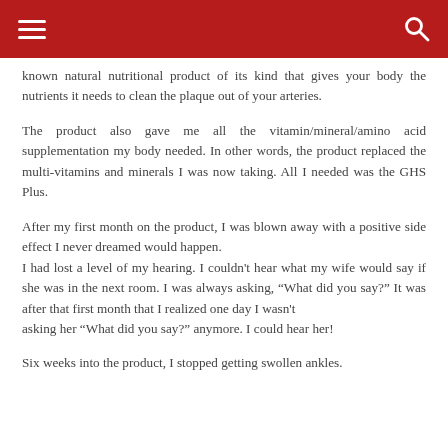Navigation header bar with hamburger menu and search icon
known natural nutritional product of its kind that gives your body the nutrients it needs to clean the plaque out of your arteries.
The product also gave me all the vitamin/mineral/amino acid supplementation my body needed. In other words, the product replaced the multi-vitamins and minerals I was now taking. All I needed was the GHS Plus.
After my first month on the product, I was blown away with a positive side effect I never dreamed would happen.
I had lost a level of my hearing. I couldn’t hear what my wife would say if she was in the next room. I was always asking, “What did you say?” It was after that first month that I realized one day I wasn’t asking her “What did you say?” anymore. I could hear her!
Six weeks into the product, I stopped getting swollen ankles.